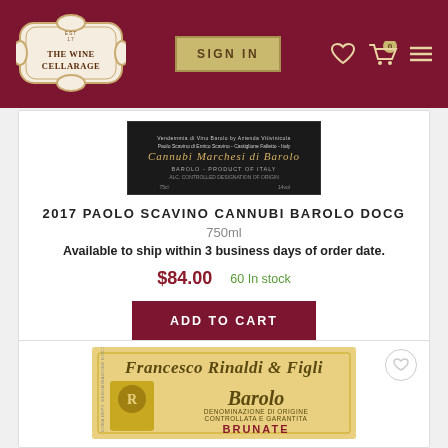The Wine Cellarage | Sign In
[Figure (screenshot): Wine bottle back label for Paolo Scavino Cannubi Barolo DOCG, dark/black label with small text]
2017 PAOLO SCAVINO CANNUBI BAROLO DOCG
750ml
Available to ship within 3 business days of order date.
$84.00   60 In stock
ADD TO CART
[Figure (photo): Wine label for Francesco Rinaldi & Figli Barolo Brunate, yellow/cream label with decorative script and coat of arms]